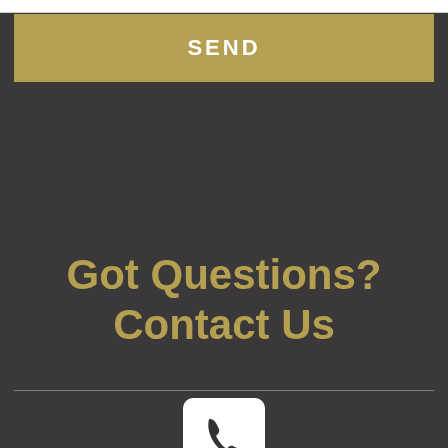SEND
Got Questions? Contact Us
[Figure (infographic): Phone/telephone icon in a white rounded rectangle]